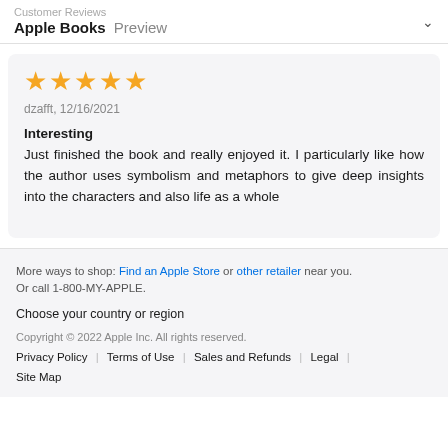Customer Reviews
Apple Books Preview
★★★★★
dzafft, 12/16/2021
Interesting
Just finished the book and really enjoyed it. I particularly like how the author uses symbolism and metaphors to give deep insights into the characters and also life as a whole
More ways to shop: Find an Apple Store or other retailer near you.
Or call 1-800-MY-APPLE.
Choose your country or region
Copyright © 2022 Apple Inc. All rights reserved.
Privacy Policy | Terms of Use | Sales and Refunds | Legal | Site Map